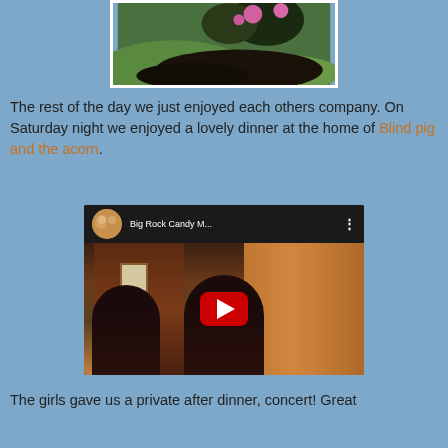[Figure (photo): Partial photo of a garden with green grass, dark mulch, and pink flowers, shown with a white border.]
The rest of the day we just enjoyed each others company. On Saturday night we enjoyed a lovely dinner at the home of Blind pig and the acorn.
[Figure (screenshot): Embedded YouTube video player showing two girls in front of a wooden fence/door. Title reads 'Big Rock Candy M...' with a red play button.]
The girls gave us a private after dinner, concert!  Great